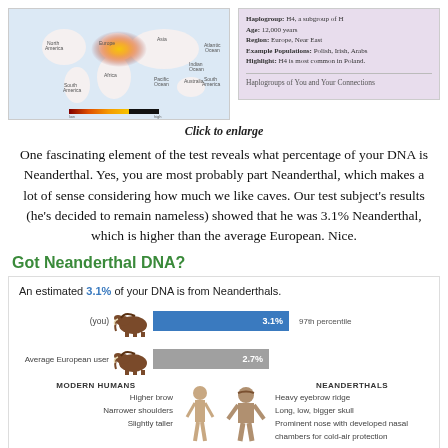[Figure (map): World haplogroup frequency map showing distribution, with color gradient from yellow/orange (high frequency, centered on Europe) to white (low), alongside an info panel showing haplogroup H4, age 12,000 years, region Europe/Near East, example populations Polish, Irish, Arabs, highlight H4 is most common in Poland. Also shows 'Haplogroups of You and Your Connections' label.]
Click to enlarge
One fascinating element of the test reveals what percentage of your DNA is Neanderthal. Yes, you are most probably part Neanderthal, which makes a lot of sense considering how much we like caves. Our test subject's results (he's decided to remain nameless) showed that he was 3.1% Neanderthal, which is higher than the average European. Nice.
Got Neanderthal DNA?
[Figure (infographic): Infographic showing 'An estimated 3.1% of your DNA is from Neanderthals.' Bar chart with mammoth icons: (you) bar in blue showing 3.1% at 97th percentile, Average European user bar in gray showing 2.7%. Below, comparison between Modern Humans (Higher brow, Narrower shoulders, Slightly taller) and Neanderthals (Heavy eyebrow ridge, Long, low, bigger skull, Prominent nose with developed nasal chambers for cold-air protection) with silhouette figures.]